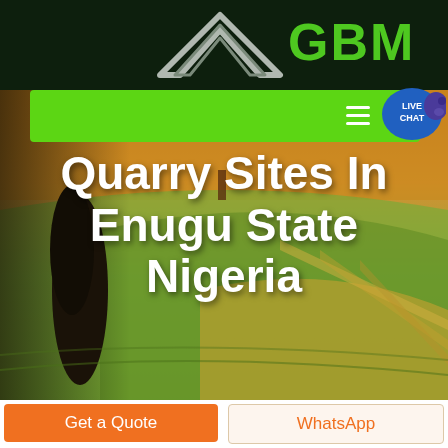[Figure (logo): GBM logo with arrow/chevron shape on dark green header bar]
[Figure (photo): Aerial view of agricultural fields in warm golden and green tones with a dark tree on the left side]
Quarry Sites In Enugu State Nigeria
Get a Quote
WhatsApp